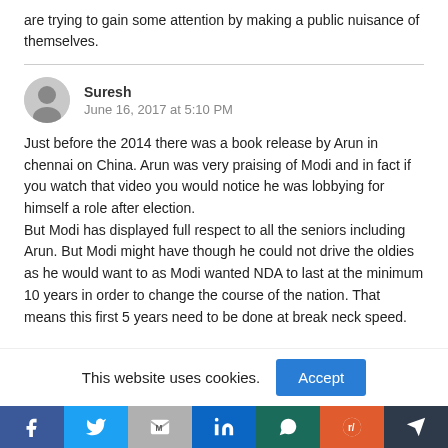are trying to gain some attention by making a public nuisance of themselves.
Suresh
June 16, 2017 at 5:10 PM
Just before the 2014 there was a book release by Arun in chennai on China. Arun was very praising of Modi and in fact if you watch that video you would notice he was lobbying for himself a role after election.
But Modi has displayed full respect to all the seniors including Arun. But Modi might have though he could not drive the oldies as he would want to as Modi wanted NDA to last at the minimum 10 years in order to change the course of the nation. That means this first 5 years need to be done at break neck speed.
This website uses cookies.
[Figure (other): Social share bar with Facebook, Twitter, Gmail, LinkedIn, WhatsApp, Reddit, and Telegram icons]